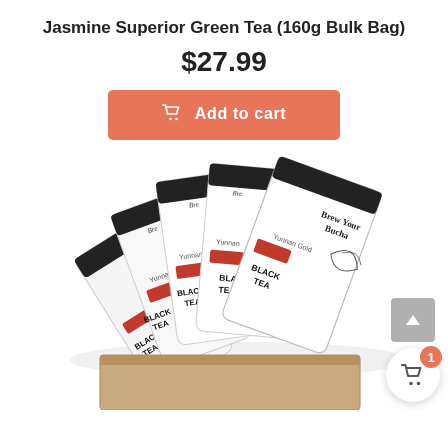Jasmine Superior Green Tea (160g Bulk Bag)
$27.99
Add to cart
[Figure (photo): Multiple white tea bags fanned out showing 'Brew Your Bucha' and 'Yunnan Gold Black Tea' branding with red and black labels, plus a kraft paper bag below]
[Figure (other): Scroll-to-top button and cart icon with badge showing 1 item]